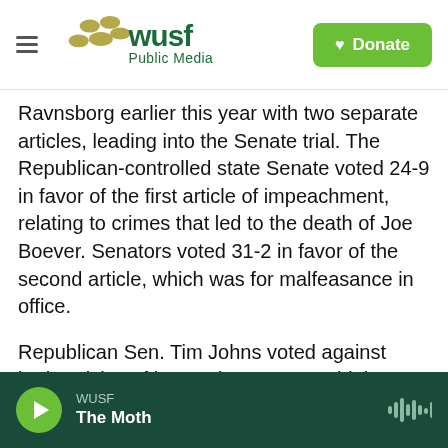WUSF Public Media
Ravnsborg earlier this year with two separate articles, leading into the Senate trial. The Republican-controlled state Senate voted 24-9 in favor of the first article of impeachment, relating to crimes that led to the death of Joe Boever. Senators voted 31-2 in favor of the second article, which was for malfeasance in office.
Republican Sen. Tim Johns voted against both articles of impeachment. He said the results do not set a good precedent.
"I think if you don't like the job they do, you vote
WUSF — The Moth